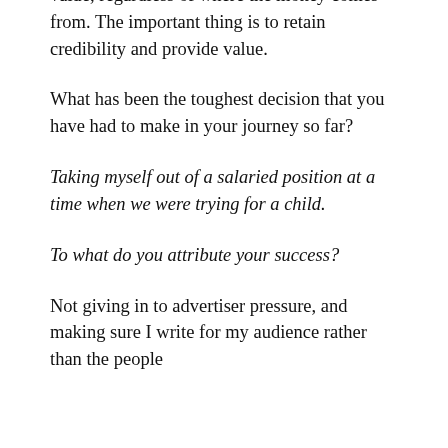value, regardless of where the money comes from. The important thing is to retain credibility and provide value.
What has been the toughest decision that you have had to make in your journey so far?
Taking myself out of a salaried position at a time when we were trying for a child.
To what do you attribute your success?
Not giving in to advertiser pressure, and making sure I write for my audience rather than the people